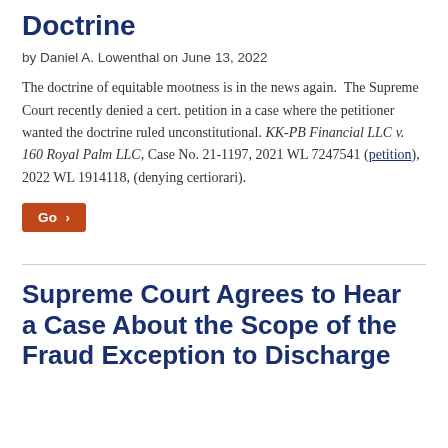Doctrine
by Daniel A. Lowenthal on June 13, 2022
The doctrine of equitable mootness is in the news again. The Supreme Court recently denied a cert. petition in a case where the petitioner wanted the doctrine ruled unconstitutional. KK-PB Financial LLC v. 160 Royal Palm LLC, Case No. 21-1197, 2021 WL 7247541 (petition), 2022 WL 1914118, (denying certiorari).
Go >
Supreme Court Agrees to Hear a Case About the Scope of the Fraud Exception to Discharge